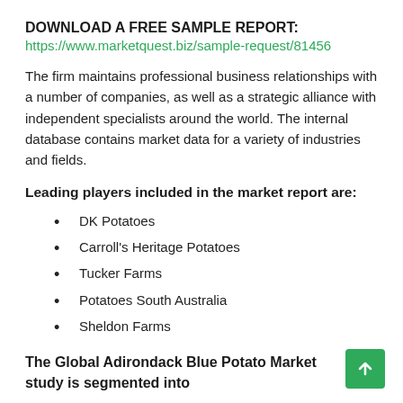DOWNLOAD A FREE SAMPLE REPORT:
https://www.marketquest.biz/sample-request/81456
The firm maintains professional business relationships with a number of companies, as well as a strategic alliance with independent specialists around the world. The internal database contains market data for a variety of industries and fields.
Leading players included in the market report are:
DK Potatoes
Carroll's Heritage Potatoes
Tucker Farms
Potatoes South Australia
Sheldon Farms
The Global Adirondack Blue Potato Market study is segmented into